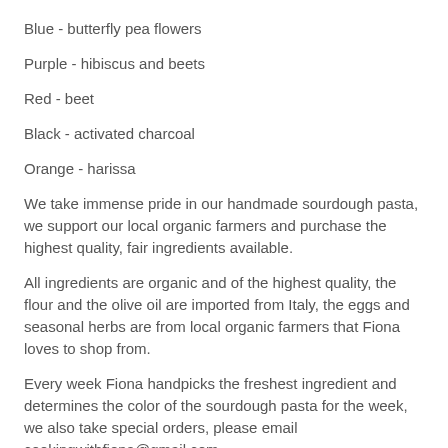Blue - butterfly pea flowers
Purple - hibiscus and beets
Red - beet
Black - activated charcoal
Orange - harissa
We take immense pride in our handmade sourdough pasta, we support our local organic farmers and purchase the highest quality, fair ingredients available.
All ingredients are organic and of the highest quality, the flour and the olive oil are imported from Italy, the eggs and seasonal herbs are from local organic farmers that Fiona loves to shop from.
Every week Fiona handpicks the freshest ingredient and determines the color of the sourdough pasta for the week, we also take special orders, please email cookingwithfiona@gmail.com.